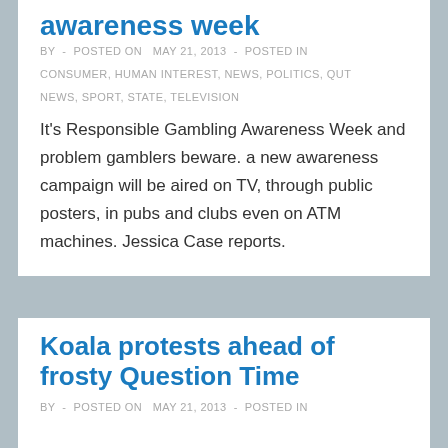awareness week
BY  -  POSTED ON  MAY 21, 2013  -  POSTED IN CONSUMER, HUMAN INTEREST, NEWS, POLITICS, QUT NEWS, SPORT, STATE, TELEVISION
It's Responsible Gambling Awareness Week and problem gamblers beware. a new awareness campaign will be aired on TV, through public posters, in pubs and clubs even on ATM machines. Jessica Case reports.
Koala protests ahead of frosty Question Time
BY  -  POSTED ON  MAY 21, 2013  -  POSTED IN